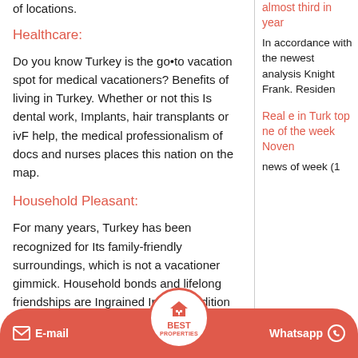of locations.
Healthcare:
Do you know Turkey is the go•to vacation spot for medical vacationers? Benefits of living in Turkey. Whether or not this Is dental work, Implants, hair transplants or ivF help, the medical professionalism of docs and nurses places this nation on the map.
Household Pleasant:
For many years, Turkey has been recognized for Its family-friendly surroundings, which is not a vacationer gimmick. Household bonds and lifelong friendships are Ingrained Into Its tradition
Low Value of Residing:
almost third in year
In accordance with the newest analysis Knight Frank. Residen
Real e in Turk top ne of the week Noven
news of week (1
[Figure (logo): Best Properties logo - circular badge with house icon and text BEST PROPERTIES]
E-mail
Whatsapp